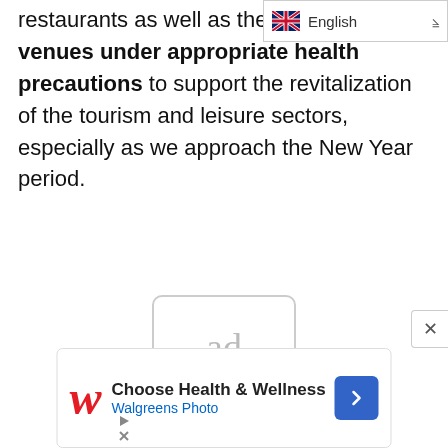restaurants as well as the entertainment venues under appropriate health precautions to support the revitalization of the tourism and leisure sectors, especially as we approach the New Year period.
[Figure (screenshot): Language selector dropdown showing English with UK flag]
[Figure (other): Ad placeholder with 'ad' text in rounded rectangle]
[Figure (other): Walgreens advertisement banner: Choose Health & Wellness, Walgreens Photo]